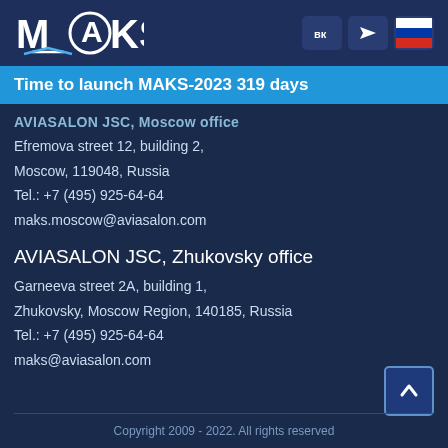MAKS
Time to launch MAKS-2023 319 days
AVIASALON JSC, Moscow office
Efremova street 12, building 2,
Moscow, 119048, Russia
Tel.: +7 (495) 925-64-64
maks.moscow@aviasalon.com
AVIASALON JSC, Zhukovsky office
Garneeva street 2A, building 1,
Zhukovsky, Moscow Region, 140185, Russia
Tel.: +7 (495) 925-64-64
maks@aviasalon.com
Copyright 2009 - 2022. All rights reserved